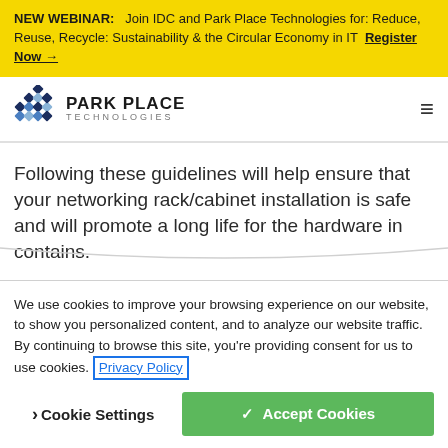NEW WEBINAR: Join IDC and Park Place Technologies for: Reduce, Reuse, Recycle: Sustainability & the Circular Economy in IT Register Now →
[Figure (logo): Park Place Technologies logo with diamond/square grid icon and company name]
Following these guidelines will help ensure that your networking rack/cabinet installation is safe and will promote a long life for the hardware in contains.
We use cookies to improve your browsing experience on our website, to show you personalized content, and to analyze our website traffic. By continuing to browse this site, you're providing consent for us to use cookies. Privacy Policy
Cookie Settings   ✓ Accept Cookies